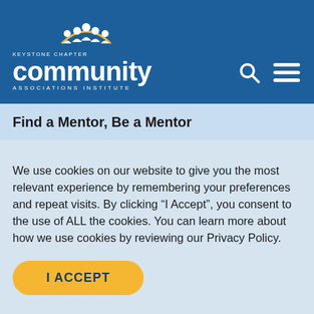[Figure (logo): Keystone Chapter Community Associations Institute logo with people icons, on blue header background with search and menu icons]
Find a Mentor, Be a Mentor
We use cookies on our website to give you the most relevant experience by remembering your preferences and repeat visits. By clicking “I Accept”, you consent to the use of ALL the cookies. You can learn more about how we use cookies by reviewing our Privacy Policy.
I ACCEPT